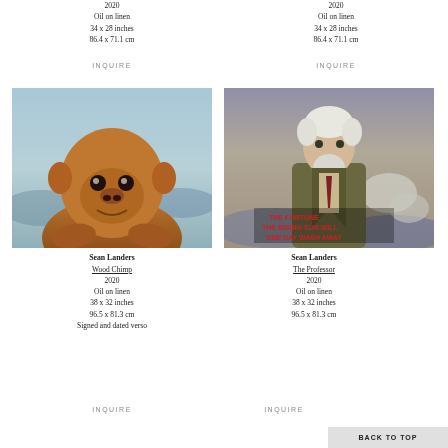2020
Oil on linen
34 x 28 inches
86.4 x 71.1 cm
INQUIRE
2020
Oil on linen
34 x 28 inches
86.4 x 71.1 cm
INQUIRE
[Figure (photo): Painting of a chimpanzee with brown wooden texture, shown from chest up with ocean/sky background]
[Figure (photo): Painting of an elderly professor-like man in a tweed suit standing near ocean waves with text overlay reading 'THE FORTUNE / THE RISING SUN WILL / ONE DAY WASH AWAY']
Sean Landers
Wood Chimp
2020
Oil on linen
38 x 32 inches
96.5 x 81.3 cm
Signed and dated verso
INQUIRE
Sean Landers
The Professor
2020
Oil on linen
38 x 32 inches
96.5 x 81.3 cm
INQUIRE
BACK TO TOP